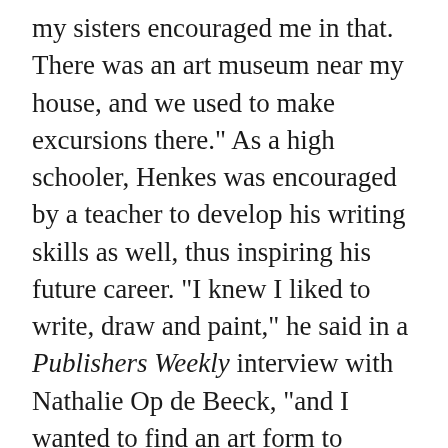my sisters encouraged me in that. There was an art museum near my house, and we used to make excursions there." As a high schooler, Henkes was encouraged by a teacher to develop his writing skills as well, thus inspiring his future career. "I knew I liked to write, draw and paint," he said in a Publishers Weekly interview with Nathalie Op de Beeck, "and I wanted to find an art form to combine those things—that's when I rediscovered picture books." "I wondered about authors and illustrators when I was growing up," Henkes wrote on his Web site. He continued, "I never imagined that one day I would be one myself."